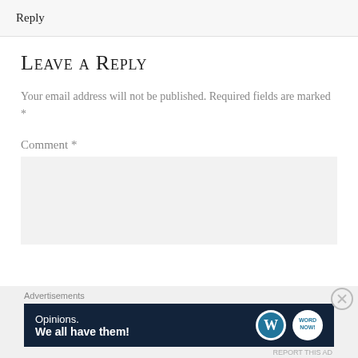Reply
Leave a Reply
Your email address will not be published. Required fields are marked *
Comment *
[Figure (other): Comment text area input box (empty, light gray background)]
Advertisements
[Figure (infographic): WordPress advertisement banner: dark navy blue background with text 'Opinions. We all have them!' and WordPress logo and WordNow circular logo on the right]